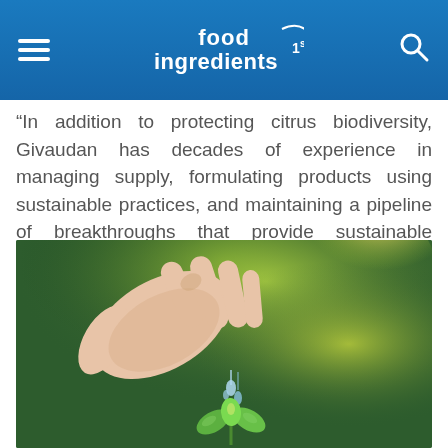food ingredients 1st
“In addition to protecting citrus biodiversity, Givaudan has decades of experience in managing supply, formulating products using sustainable practices, and maintaining a pipeline of breakthroughs that provide sustainable innovation for today and tomorrow,” Streich continues.
[Figure (photo): A hand with water droplets falling onto a small green seedling plant, with a blurred green and sunlit background suggesting nature and sustainability.]